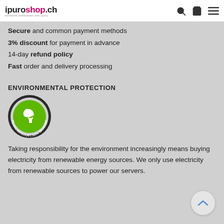ipuroshop.ch
Secure and common payment methods
3% discount for payment in advance
14-day refund policy
Fast order and delivery processing
ENVIRONMENTAL PROTECTION
[Figure (logo): Green circular badge with leaf and plug icon, text '0% CO2 EMISSION | 100% ÖKOSTROM']
Taking responsibility for the environment increasingly means buying electricity from renewable energy sources. We only use electricity from renewable sources to power our servers.